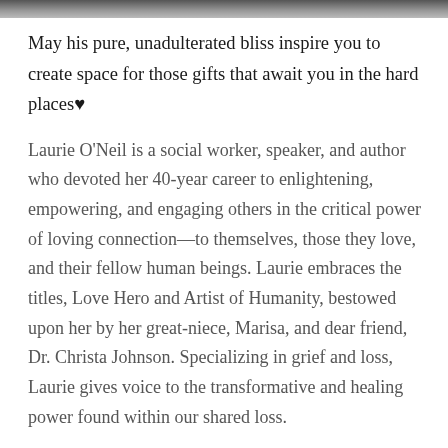[Figure (photo): Partial photo strip at top of page, cropped]
May his pure, unadulterated bliss inspire you to create space for those gifts that await you in the hard places♥
Laurie O'Neil is a social worker, speaker, and author who devoted her 40-year career to enlightening, empowering, and engaging others in the critical power of loving connection—to themselves, those they love, and their fellow human beings. Laurie embraces the titles, Love Hero and Artist of Humanity, bestowed upon her by her great-niece, Marisa, and dear friend, Dr. Christa Johnson. Specializing in grief and loss, Laurie gives voice to the transformative and healing power found within our shared loss.